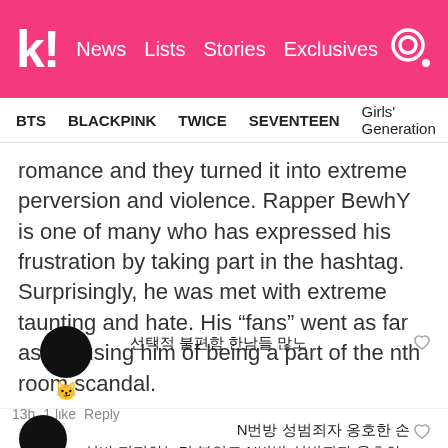k! News Lists Stories Exclusives
BTS   BLACKPINK   TWICE   SEVENTEEN   Girls' Generation
romance and they turned it into extreme perversion and violence. Rapper BewhY is one of many who has expressed his frustration by taking part in the hashtag. Surprisingly, he was met with extreme taunting and hate. His “fans” went as far as accusing him of being a part of the nth room scandal.
선택적 불편함 한남들 많노
13h  1 like  Reply
N번방 성범죄자 옹호한 손
심바 지지하는건 본인도 N번방 성범죄자 옹호하는
거 아닌가